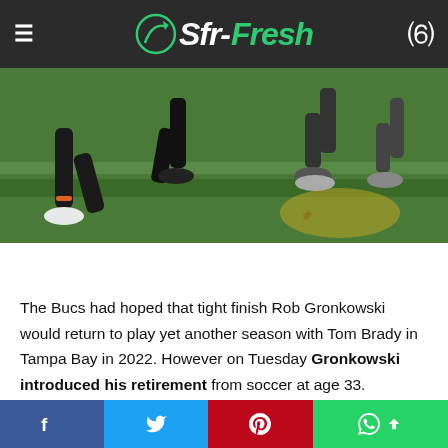Sfr-Fresh
[Figure (photo): Football players on a green turf field, low-angle shot showing legs and cleats, one player in dark uniform crouching near the field logo]
The Bucs had hoped that tight finish Rob Gronkowski would return to play yet another season with Tom Brady in Tampa Bay in 2022. However on Tuesday Gronkowski introduced his retirement from soccer at age 33.
S...
Facebook | Twitter | Pinterest | WhatsApp | Back to top